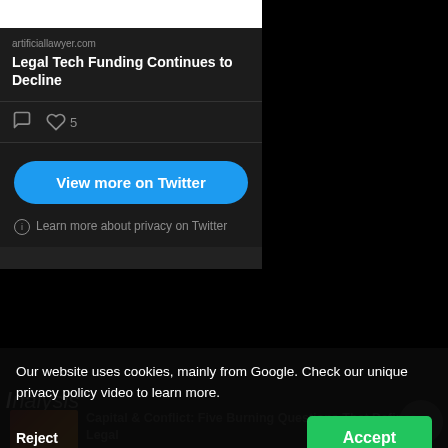[Figure (screenshot): Twitter embedded card showing a link preview to artificiallawyer.com article 'Legal Tech Funding Continues to Decline' with comment and like icons (5 likes), a blue 'View more on Twitter' button, and a privacy notice.]
Our website uses cookies, mainly from Google. Check our unique privacy policy video to learn more.
Reject
Accept
Analysis
Capital & Conflict: Five Burning Questions That Defines Legal
July 19, 2022